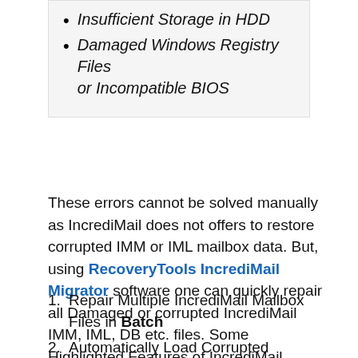Insufficient Storage in HDD
Damaged Windows Registry Files or Incompatible BIOS
These errors cannot be solved manually as IncrediMail does not offers to restore corrupted IMM or IML mailbox data. But, using RecoveryTools IncrediMail Migrator software one can quickly repair all Damaged or corrupted IncrediMail IMM, IML, DB etc. files. Some Highlighted Features of IncrediMail Recovery Software are listed below:
Repair Multiple IncrediMail Mailbox Files in Batch
Automatically Load Corrupted IncrediMail Mailbox Items from Configured Profile Location